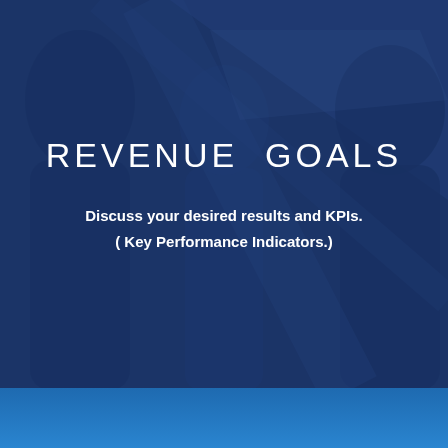[Figure (photo): Dark navy blue background with faint silhouettes of people in a business meeting setting, overlaid with a semi-transparent deep blue color wash]
REVENUE GOALS
Discuss your desired results and KPIs.
( Key Performance Indicators.)